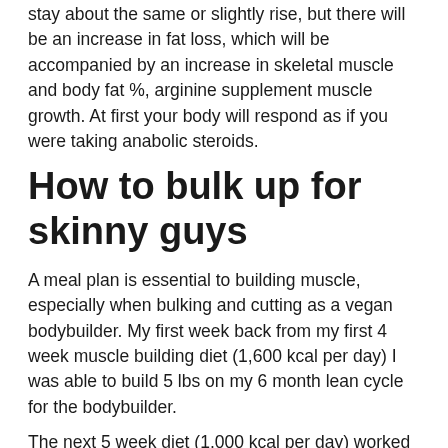stay about the same or slightly rise, but there will be an increase in fat loss, which will be accompanied by an increase in skeletal muscle and body fat %, arginine supplement muscle growth. At first your body will respond as if you were taking anabolic steroids.
How to bulk up for skinny guys
A meal plan is essential to building muscle, especially when bulking and cutting as a vegan bodybuilder. My first week back from my first 4 week muscle building diet (1,600 kcal per day) I was able to build 5 lbs on my 6 month lean cycle for the bodybuilder.
The next 5 week diet (1,000 kcal per day) worked pretty well for me and I was able to have 5 lb weight gain in my 6 month lean cycle. After six weeks of dieting...